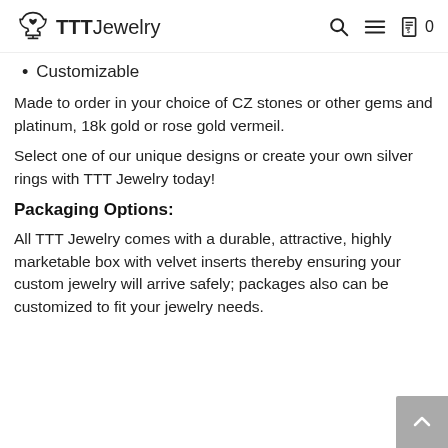TTTJewelry
Customizable
Made to order in your choice of CZ stones or other gems and platinum, 18k gold or rose gold vermeil.
Select one of our unique designs or create your own silver rings with TTT Jewelry today!
Packaging Options:
All TTT Jewelry comes with a durable, attractive, highly marketable box with velvet inserts thereby ensuring your custom jewelry will arrive safely; packages also can be customized to fit your jewelry needs.